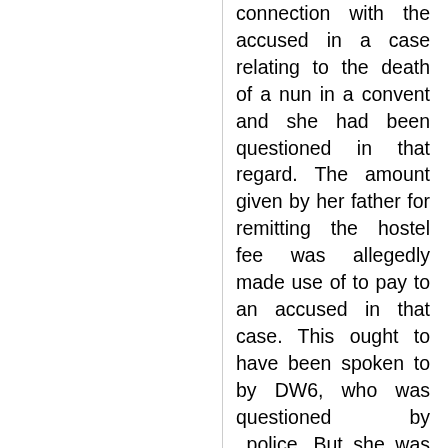connection with the accused in a case relating to the death of a nun in a convent and she had been questioned in that regard. The amount given by her father for remitting the hostel fee was allegedly made use of to pay to an accused in that case. This ought to have been spoken to by DW6, who was questioned by police. But she was given up by the prosecution. It is also submitted based on